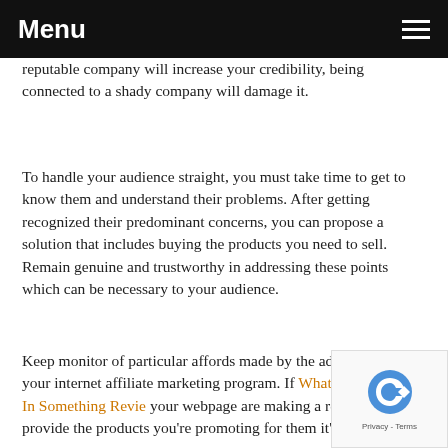Menu
reputable company will increase your credibility, being connected to a shady company will damage it.
To handle your audience straight, you must take time to get to know them and understand their problems. After getting recognized their predominant concerns, you can propose a solution that includes buying the products you need to sell. Remain genuine and trustworthy in addressing these points which can be necessary to your audience.
Keep monitor of particular affords made by the advertisers in your internet affiliate marketing program. If What To Look For In Something Revie… your webpage are making a restricted-time provide… the products you're promoting for them it's best to find